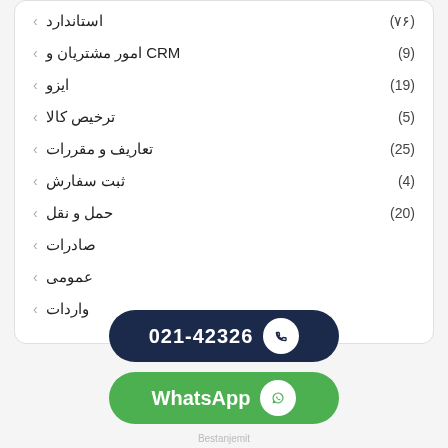استاندارد (۷۶)
CRM امور مشتریان و (9)
ایزو (19)
ترخیص کالا (5)
تعاریف و مقررات (25)
ثبت سفارش (4)
حمل و نقل (20)
صادرات
عمومی
واردات
[Figure (infographic): Dark navy pill-shaped button showing phone number 021-42326 with phone icon]
[Figure (infographic): Green pill-shaped WhatsApp button with WhatsApp icon]
[Figure (logo): Footer logo with house/chevron icon and dots, with text below]